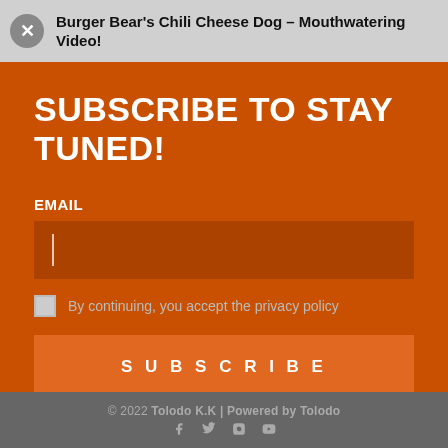Burger Bear's Chili Cheese Dog – Mouthwatering Video!
SUBSCRIBE TO STAY TUNED!
EMAIL
By continuing, you accept the privacy policy
SUBSCRIBE
© 2022 Tolodo K.K | Powered by Tolodo